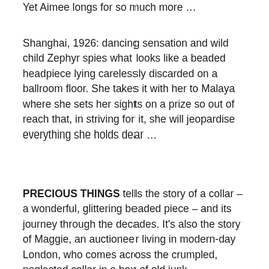Yet Aimee longs for so much more …
Shanghai, 1926: dancing sensation and wild child Zephyr spies what looks like a beaded headpiece lying carelessly discarded on a ballroom floor. She takes it with her to Malaya where she sets her sights on a prize so out of reach that, in striving for it, she will jeopardise everything she holds dear …
PRECIOUS THINGS tells the story of a collar – a wonderful, glittering beaded piece – and its journey through the decades. It's also the story of Maggie, an auctioneer living in modern-day London, who comes across the crumpled, neglected collar in a box of old junk,